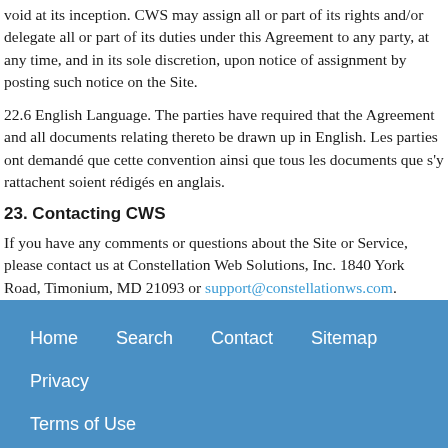void at its inception. CWS may assign all or part of its rights and/or delegate all or part of its duties under this Agreement to any party, at any time, and in its sole discretion, upon notice of assignment by posting such notice on the Site.
22.6 English Language. The parties have required that the Agreement and all documents relating thereto be drawn up in English. Les parties ont demandé que cette convention ainsi que tous les documents que s'y rattachent soient rédigés en anglais.
23. Contacting CWS
If you have any comments or questions about the Site or Service, please contact us at Constellation Web Solutions, Inc. 1840 York Road, Timonium, MD 21093 or support@constellationws.com.
Home   Search   Contact   Sitemap   Privacy   Terms of Use